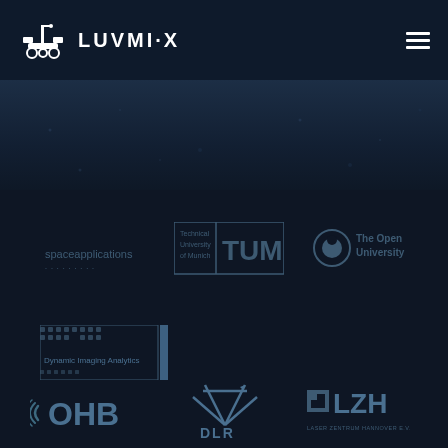[Figure (logo): LUVMI-X project logo in header - rover icon with LUVMI·X text in white]
[Figure (logo): Space Applications logo - company partner]
[Figure (logo): TUM - Technical University of Munich logo]
[Figure (logo): The Open University logo]
[Figure (logo): Dynamic Imaging Analytics logo]
[Figure (logo): OHB company logo]
[Figure (logo): DLR - German Aerospace Center logo]
[Figure (logo): LZH - Laser Zentrum Hannover logo]